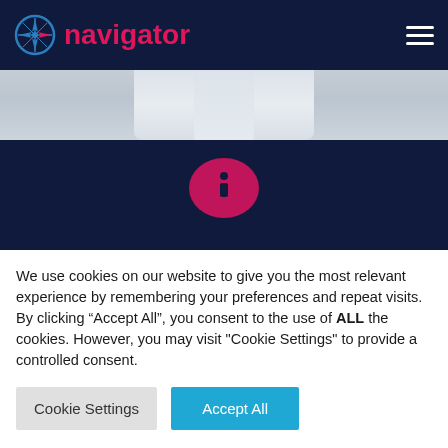navigator
[Figure (photo): Partial view of a person in a white coat/shirt (doctor or professional), cropped to show torso area only, serving as a website hero image strip]
[Figure (other): Dark navy blue background section with a pink/crimson speech bubble info icon in the center, and text 'Call Us Now on: 0333 2400 308' and partial 'or' below]
We use cookies on our website to give you the most relevant experience by remembering your preferences and repeat visits. By clicking “Accept All”, you consent to the use of ALL the cookies. However, you may visit "Cookie Settings" to provide a controlled consent.
Cookie Settings
Accept All